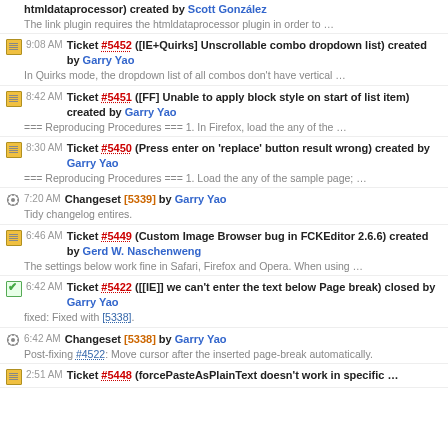htmldataprocessor) created by Scott González
The link plugin requires the htmldataprocessor plugin in order to …
9:08 AM Ticket #5452 ([IE+Quirks] Unscrollable combo dropdown list) created by Garry Yao
In Quirks mode, the dropdown list of all combos don't have vertical …
8:42 AM Ticket #5451 ([FF] Unable to apply block style on start of list item) created by Garry Yao
=== Reproducing Procedures === 1. In Firefox, load the any of the …
8:30 AM Ticket #5450 (Press enter on 'replace' button result wrong) created by Garry Yao
=== Reproducing Procedures === 1. Load the any of the sample page; …
7:20 AM Changeset [5339] by Garry Yao
Tidy changelog entires.
6:46 AM Ticket #5449 (Custom Image Browser bug in FCKEditor 2.6.6) created by Gerd W. Naschenweng
The settings below work fine in Safari, Firefox and Opera. When using …
6:42 AM Ticket #5422 ([[IE]] we can't enter the text below Page break) closed by Garry Yao
fixed: Fixed with [5338].
6:42 AM Changeset [5338] by Garry Yao
Post-fixing #4522: Move cursor after the inserted page-break automatically.
2:51 AM Ticket #5448 (forcePasteAsPlainText doesn't work in specific …